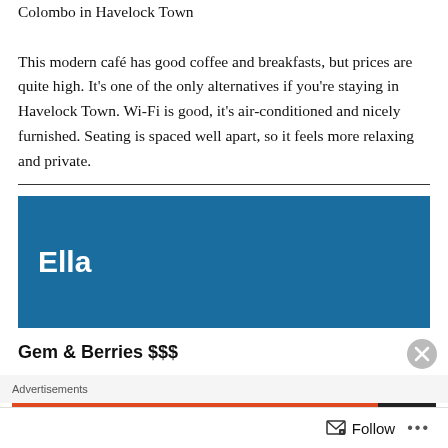Colombo in Havelock Town
This modern café has good coffee and breakfasts, but prices are quite high. It's one of the only alternatives if you're staying in Havelock Town. Wi-Fi is good, it's air-conditioned and nicely furnished. Seating is spaced well apart, so it feels more relaxing and private.
[Figure (other): Blue banner section header reading 'Ella' in white bold text on a dark blue background]
Gem & Berries $$$
Advertisements
[Figure (screenshot): Advertisement banner in orange reading 'Search, browse, and email' with a dark panel on the right showing an orange circle logo]